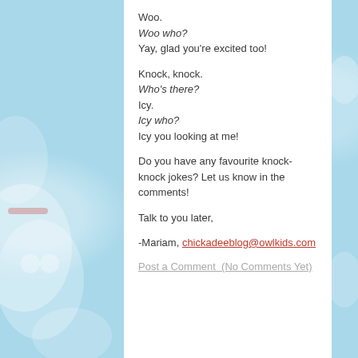Woo.
Woo who?
Yay, glad you're excited too!
Knock, knock.
Who's there?
Icy.
Icy who?
Icy you looking at me!
Do you have any favourite knock-knock jokes? Let us know in the comments!
Talk to you later,
-Mariam, chickadeeblog@owlkids.com
Post a Comment  (No Comments Yet)